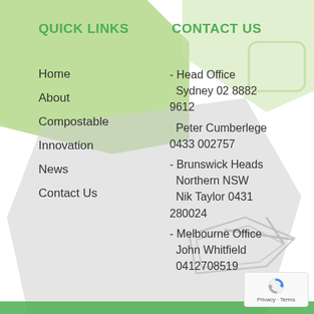QUICK LINKS
CONTACT US
Home
About
Compostable
Innovation
News
Contact Us
- Head Office Sydney 02 8882 9612
 Peter Cumberlege 0433 002757
- Brunswick Heads Northern NSW
 Nik Taylor 0431 280024
- Melbourne Office
 John Whitfield
 0412708519
[Figure (logo): reCAPTCHA logo with Privacy and Terms text]